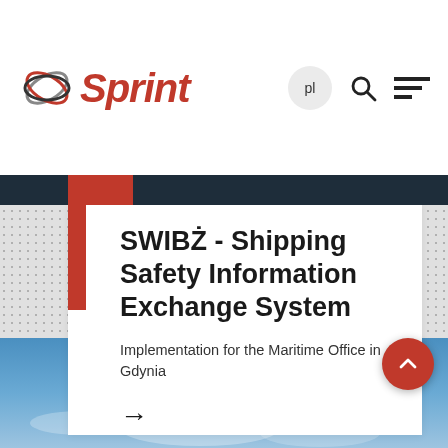[Figure (logo): Sprint company logo with circular overlapping rings icon and red italic Sprint text]
SWIBŻ - Shipping Safety Information Exchange System
Implementation for the Maritime Office in Gdynia
[Figure (photo): Blue sky with clouds, bottom portion of page]